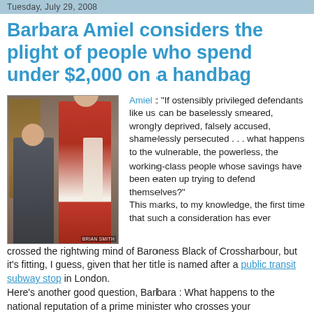Tuesday, July 29, 2008
Barbara Amiel considers the plight of people who spend under $2,000 on a handbag
[Figure (photo): Photo of a woman in a dark suit seated and a man in red academic/ceremonial robes standing beside her, in a formal room with bookshelves. Photo credit: Brian Smith.]
Amiel : "If ostensibly privileged defendants like us can be baselessly smeared, wrongly deprived, falsely accused, shamelessly persecuted . . . what happens to the vulnerable, the powerless, the working-class people whose savings have been eaten up trying to defend themselves?" This marks, to my knowledge, the first time that such a consideration has ever crossed the rightwing mind of Baroness Black of Crossharbour, but it's fitting, I guess, given that her title is named after a public transit subway stop in London. Here's another good question, Barbara : What happens to the national reputation of a prime minister who crosses your